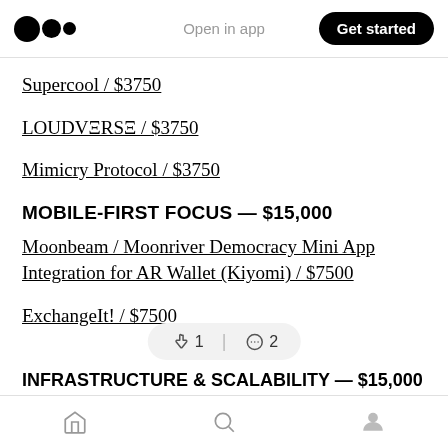Open in app | Get started
Supercool / $3750
LOUDVΞRSΞ / $3750
Mimicry Protocol / $3750
MOBILE-FIRST FOCUS — $15,000
Moonbeam / Moonriver Democracy Mini App Integration for AR Wallet (Kiyomi) / $7500
ExchangeIt! / $7500
INFRASTRUCTURE & SCALABILITY — $15,000